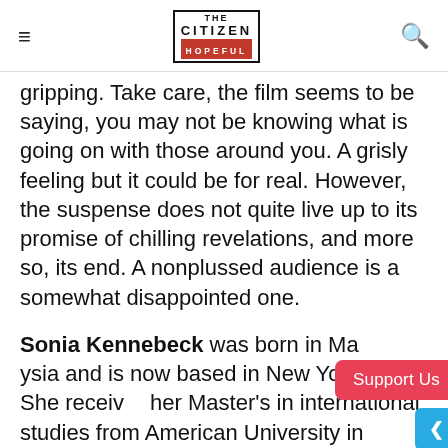THE CITIZEN IS HOPEFUL
gripping. Take care, the film seems to be saying, you may not be knowing what is going on with those around you. A grisly feeling but it could be for real. However, the suspense does not quite live up to its promise of chilling revelations, and more so, its end. A nonplussed audience is a somewhat disappointed one.
Sonia Kennebeck was born in Malaysia and is now based in New York City. She received her Master's in international studies from American University in Washington, DC. She has directed eight television documentaries and has